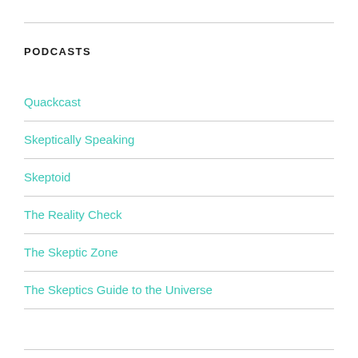PODCASTS
Quackcast
Skeptically Speaking
Skeptoid
The Reality Check
The Skeptic Zone
The Skeptics Guide to the Universe